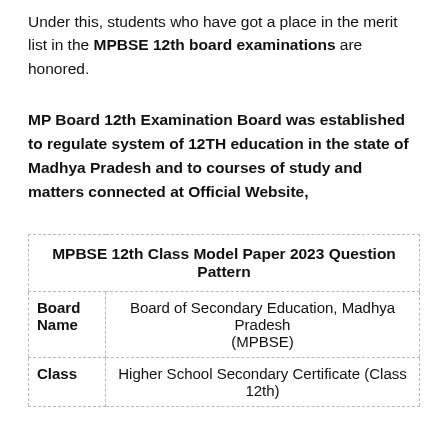Under this, students who have got a place in the merit list in the MPBSE 12th board examinations are honored.
MP Board 12th Examination Board was established to regulate system of 12TH education in the state of Madhya Pradesh and to courses of study and matters connected at Official Website,
| MPBSE 12th Class Model Paper 2023 Question Pattern |
| --- |
| Board Name | Board of Secondary Education, Madhya Pradesh (MPBSE) |
| Class | Higher School Secondary Certificate (Class 12th) |